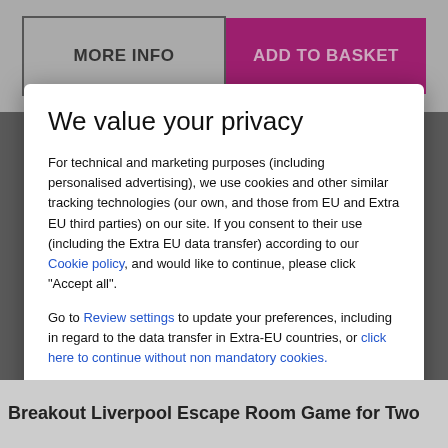MORE INFO
ADD TO BASKET
We value your privacy
For technical and marketing purposes (including personalised advertising), we use cookies and other similar tracking technologies (our own, and those from EU and Extra EU third parties) on our site. If you consent to their use (including the Extra EU data transfer) according to our Cookie policy, and would like to continue, please click "Accept all".
Go to Review settings to update your preferences, including in regard to the data transfer in Extra-EU countries, or click here to continue without non mandatory cookies.
ACCEPT ALL
Breakout Liverpool Escape Room Game for Two